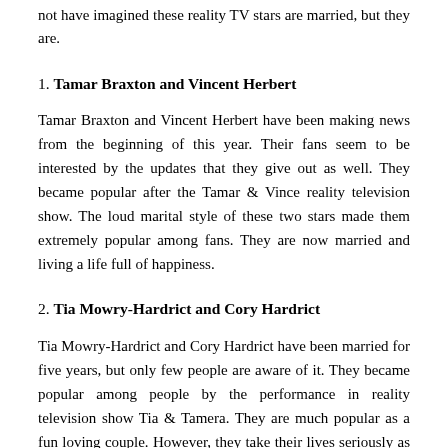not have imagined these reality TV stars are married, but they are.
1. Tamar Braxton and Vincent Herbert
Tamar Braxton and Vincent Herbert have been making news from the beginning of this year. Their fans seem to be interested by the updates that they give out as well. They became popular after the Tamar & Vince reality television show. The loud marital style of these two stars made them extremely popular among fans. They are now married and living a life full of happiness.
2. Tia Mowry-Hardrict and Cory Hardrict
Tia Mowry-Hardrict and Cory Hardrict have been married for five years, but only few people are aware of it. They became popular among people by the performance in reality television show Tia & Tamera. They are much popular as a fun loving couple. However, they take their lives seriously as well. They just show the silly side of their